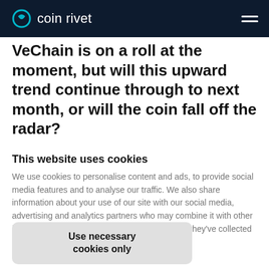coin rivet
VeChain is on a roll at the moment, but will this upward trend continue through to next month, or will the coin fall off the radar?
This website uses cookies
We use cookies to personalise content and ads, to provide social media features and to analyse our traffic. We also share information about your use of our site with our social media, advertising and analytics partners who may combine it with other information that you've provided to them or that they've collected from your use of their services.
Use necessary cookies only